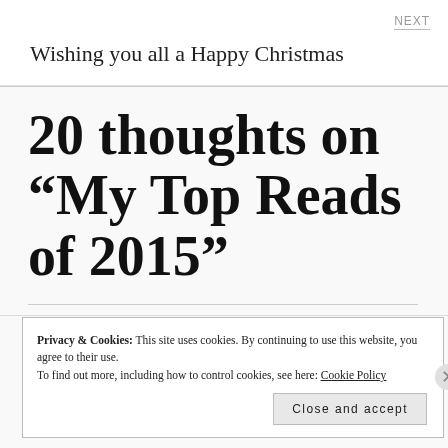NEXT
Wishing you all a Happy Christmas
20 thoughts on “My Top Reads of 2015”
Privacy & Cookies: This site uses cookies. By continuing to use this website, you agree to their use.
To find out more, including how to control cookies, see here: Cookie Policy
Close and accept